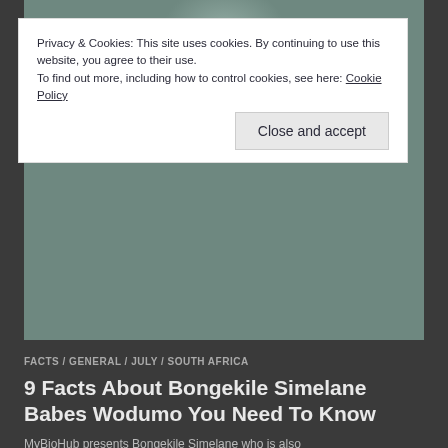[Figure (photo): Photo of a woman with long blue-dyed wavy hair wearing a grey hoodie, cropped to show hair and upper body.]
Privacy & Cookies: This site uses cookies. By continuing to use this website, you agree to their use.
To find out more, including how to control cookies, see here: Cookie Policy
Close and accept
FACTS / GENERAL / JULY / SOUTH AFRICA
9 Facts About Bongekile Simelane Babes Wodumo You Need To Know
MyBioHub presents Bongekile Simelane who is also